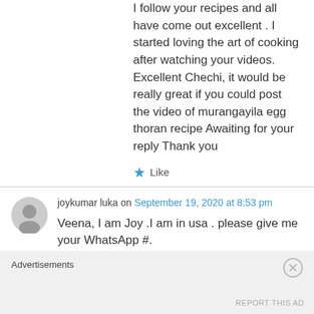I follow your recipes and all have come out excellent . I started loving the art of cooking after watching your videos. Excellent Chechi, it would be really great if you could post the video of murangayila egg thoran recipe Awaiting for your reply Thank you
★ Like
joykumar luka on September 19, 2020 at 8:53 pm
Veena, I am Joy .I am in usa . please give me your WhatsApp #.
Advertisements